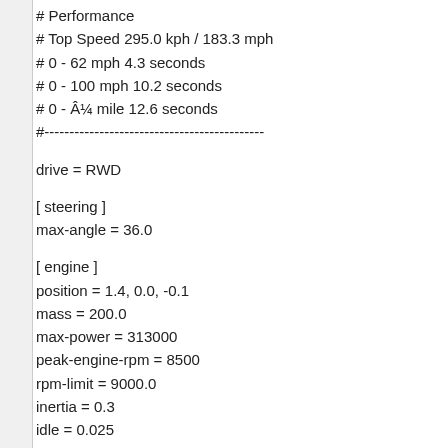# Performance
# Top Speed 295.0 kph / 183.3 mph
# 0 - 62 mph 4.3 seconds
# 0 - 100 mph 10.2 seconds
# 0 - Â¼ mile 12.6 seconds
#--------------------------------------------
drive = RWD
[ steering ]
max-angle = 36.0
[ engine ]
position = 1.4, 0.0, -0.1
mass = 200.0
max-power = 313000
peak-engine-rpm = 8500
rpm-limit = 9000.0
inertia = 0.3
idle = 0.025
start-rpm = 1000
stall-rpm = 600
fuel-consumption = 0.0001